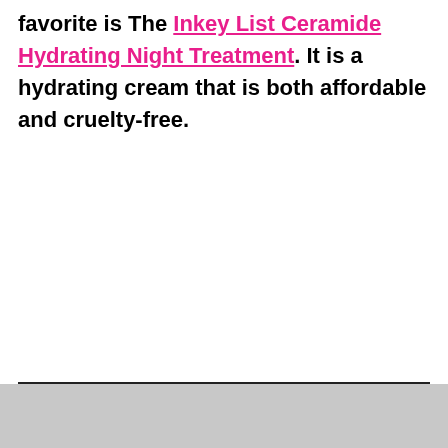favorite is The Inkey List Ceramide Hydrating Night Treatment. It is a hydrating cream that is both affordable and cruelty-free.
Dr. Jart Ceramidin Cream Review